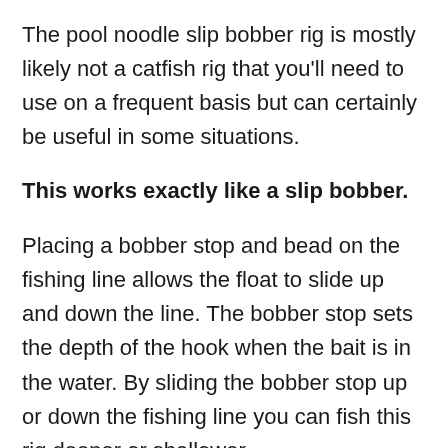The pool noodle slip bobber rig is mostly likely not a catfish rig that you'll need to use on a frequent basis but can certainly be useful in some situations.
This works exactly like a slip bobber.
Placing a bobber stop and bead on the fishing line allows the float to slide up and down the line. The bobber stop sets the depth of the hook when the bait is in the water. By sliding the bobber stop up or down the fishing line you can fish this rig deeper or shallower.
There's a couple of advantages the pool noodle